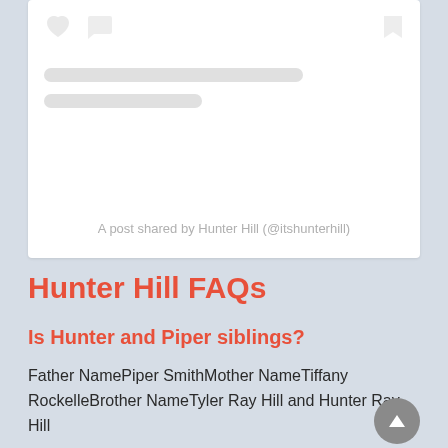[Figure (screenshot): Instagram embed card showing heart and comment icons, placeholder content lines, and caption text 'A post shared by Hunter Hill (@itshunterhill)']
Hunter Hill FAQs
Is Hunter and Piper siblings?
Father NamePiper SmithMother NameTiffany RockelleBrother NameTyler Ray Hill and Hunter Ray Hill
Who is editor to Piper Rockelle?